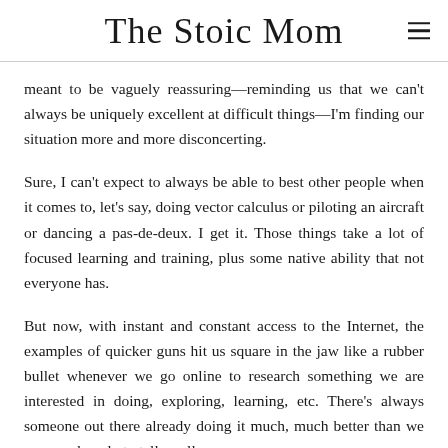The Stoic Mom
meant to be vaguely reassuring—reminding us that we can't always be uniquely excellent at difficult things—I'm finding our situation more and more disconcerting.
Sure, I can't expect to always be able to best other people when it comes to, let's say, doing vector calculus or piloting an aircraft or dancing a pas-de-deux. I get it. Those things take a lot of focused learning and training, plus some native ability that not everyone has.
But now, with instant and constant access to the Internet, the examples of quicker guns hit us square in the jaw like a rubber bullet whenever we go online to research something we are interested in doing, exploring, learning, etc. There's always someone out there already doing it much, much better than we are—and ready to tell us all